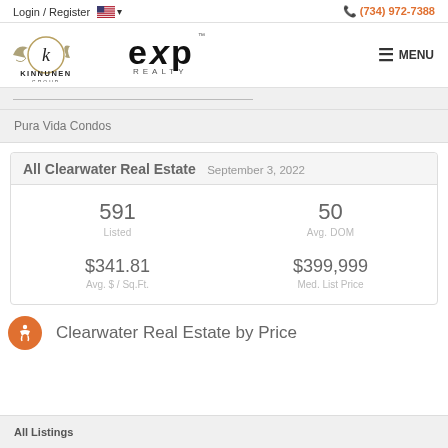Login / Register  🇺🇸 ▾   📞 (734) 972-7388
[Figure (logo): Kinnunen Group eXp Realty logo and MENU button]
Pura Vida Condos
| All Clearwater Real Estate  September 3, 2022 |
| --- |
| 591 Listed | 50 Avg. DOM |
| $341.81 Avg. $ / Sq.Ft. | $399,999 Med. List Price |
Clearwater Real Estate by Price
All Listings